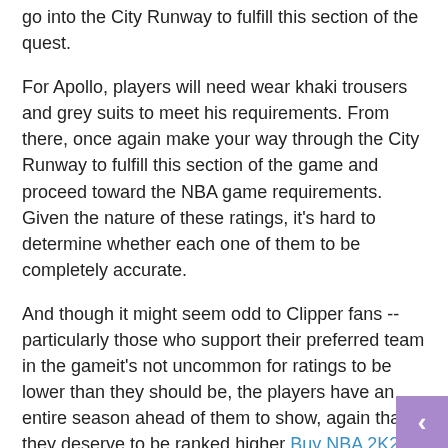go into the City Runway to fulfill this section of the quest.
For Apollo, players will need wear khaki trousers and grey suits to meet his requirements. From there, once again make your way through the City Runway to fulfill this section of the game and proceed toward the NBA game requirements. Given the nature of these ratings, it's hard to determine whether each one of them to be completely accurate.
And though it might seem odd to Clipper fans -- particularly those who support their preferred team in the gameit's not uncommon for ratings to be lower than they should be, the players have an entire season ahead of them to show, again that they deserve to be ranked higher Buy NBA 2K22 MT. If you believe that the Clippers keep playing in the same manner as they did during last year's playoffs It's only the matter of time until they see their ratings increase.